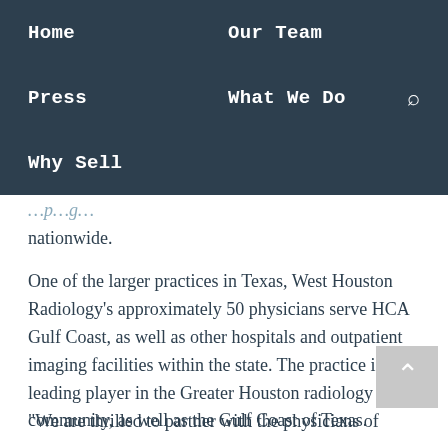Home   Our Team   Press   What We Do   Why Sell
nationwide.
One of the larger practices in Texas, West Houston Radiology's approximately 50 physicians serve HCA Gulf Coast, as well as other hospitals and outpatient imaging facilities within the state. The practice is a leading player in the Greater Houston radiology community, as well as the Gulf Coast of Texas.
“We are thrilled to partner with the physicians of